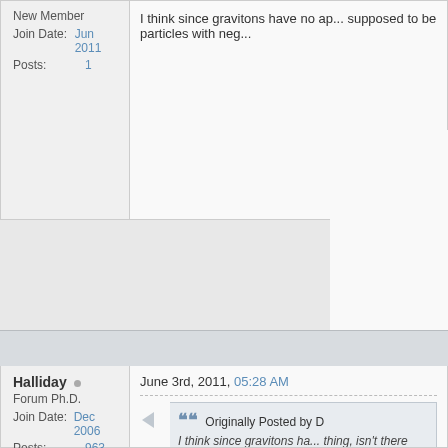New Member
Join Date: Jun 2011
Posts: 1
I think since gravitons have no ap... supposed to be particles with neg...
Halliday
Forum Ph.D.
Join Date: Dec 2006
Posts: 963
June 3rd, 2011, 05:28 AM
Originally Posted by D
I think since gravitons ha... thing, isn't there suppos...
I haven't heard of particles with ne...